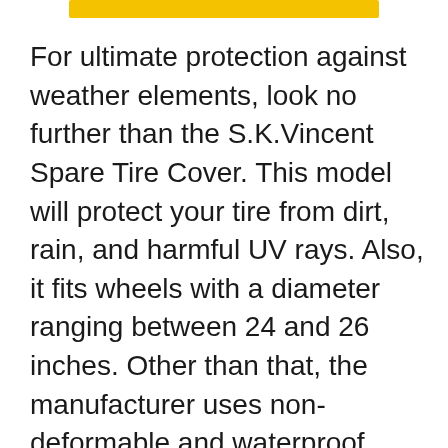[Figure (other): Yellow horizontal bar/banner at top center of page]
For ultimate protection against weather elements, look no further than the S.K.Vincent Spare Tire Cover. This model will protect your tire from dirt, rain, and harmful UV rays. Also, it fits wheels with a diameter ranging between 24 and 26 inches. Other than that, the manufacturer uses non-deformable and waterproof materials for long-lasting service. The PVC leather is waterproof, easy to clean, and guarantees protection from abrasion, sun, and rain. You'll also have an easy time